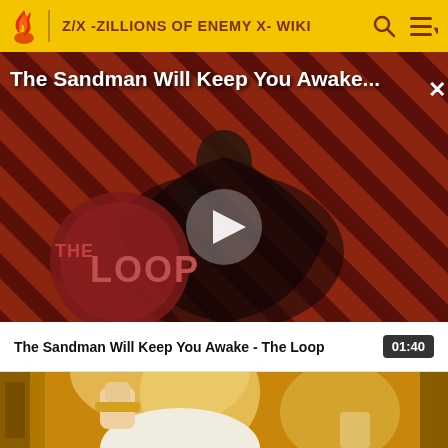Z/X -ZILLIONS OF ENEMY X- WIKI
[Figure (screenshot): Video thumbnail showing a dark figure in a cape holding a raven, with diagonal red and black stripes background and 'THE LOOP' logo overlay. Title overlay reads 'The Sandman Will Keep You Awake...' with a play button in the center.]
The Sandman Will Keep You Awake - The Loop
01:40
[Figure (illustration): Anime-style illustration showing a blonde female character in white and gold armor/clothing, partially visible, cropped at bottom of page.]